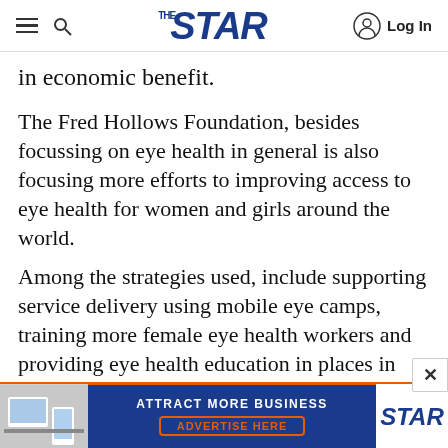THE STAR | Log In
in economic benefit.
The Fred Hollows Foundation, besides focussing on eye health in general is also focusing more efforts to improving access to eye health for women and girls around the world.
Among the strategies used, include supporting service delivery using mobile eye camps, training more female eye health workers and providing eye health education in places in women friendly gatherings. In all our projects, we have a special focus on women's access to eye health.
[Figure (infographic): Advertisement banner for The Star newspaper reading 'ATTRACT MORE BUSINESS - ADVERTISE HERE' in blue and orange colors with Star logo]